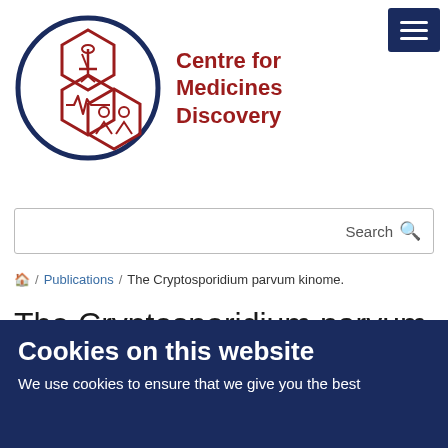[Figure (logo): Centre for Medicines Discovery logo: circular emblem with dark blue border and three hexagon shapes containing scientific/medical icons in dark red, next to organization name text]
Centre for Medicines Discovery
Search
Home / Publications / The Cryptosporidium parvum kinome.
The Cryptosporidium parvum kinome.
Artz JD., Wernimont AK., Allali-Hassani A., Zhao Y., Amani M., Lin Y-H., Senisterra G., Wasney GA., Fedorov O., King O., Roos A., Lunin VV., Qiu W., Finerty P., Hutchinson A., Chau I., von Delft F.
Cookies on this website
We use cookies to ensure that we give you the best